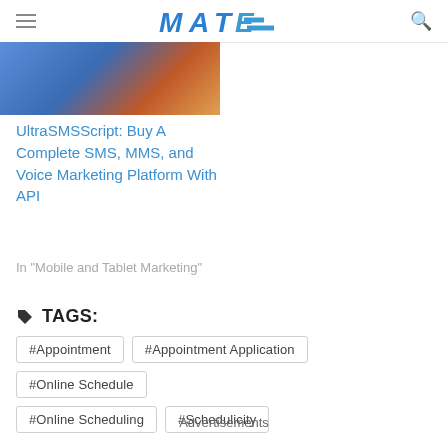MTE (logo)
[Figure (photo): Thumbnail image with blue and orange gradient tones for the article]
UltraSMSScript: Buy A Complete SMS, MMS, and Voice Marketing Platform With API
In "Mobile and Tablet Marketing"
TAGS:
#Appointment
#Appointment Application
#Online Schedule
#Online Scheduling
#Schedulicity
Advertisements